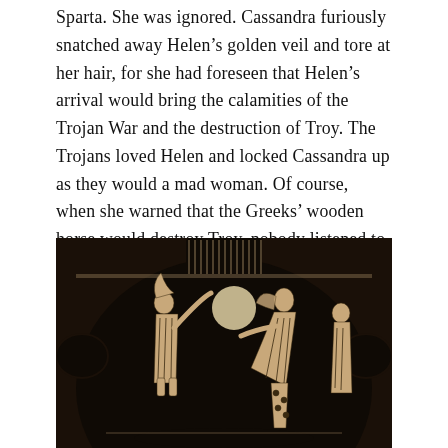Sparta. She was ignored. Cassandra furiously snatched away Helen's golden veil and tore at her hair, for she had foreseen that Helen's arrival would bring the calamities of the Trojan War and the destruction of Troy. The Trojans loved Helen and locked Cassandra up as they would a mad woman. Of course, when she warned that the Greeks' wooden horse would destroy Troy, nobody listened to her.
[Figure (photo): A black ancient Greek vase (hydria or amphora) with red-figure decoration showing figures in classical Greek style. The vase has two rounded handles on the sides. The decorative scene depicts figures in dramatic poses, possibly illustrating a mythological scene. The background of the vase is glossy black and the figures are rendered in reddish-cream tones with detailed line work.]